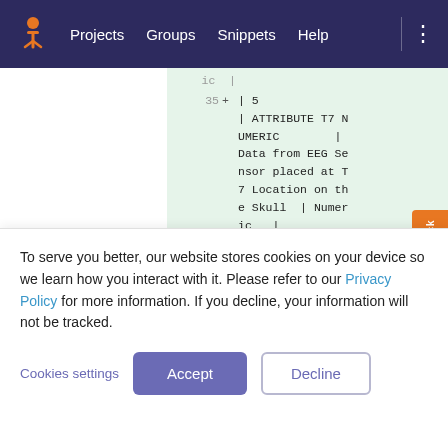Projects  Groups  Snippets  Help
[Figure (screenshot): Code diff view showing lines 35 and 36 added, with SQL/table attribute definitions for T7 NUMERIC (EEG Sensor at T7 Location) and P7 NUMERIC (EEG Sensor) columns in a green highlighted diff background.]
To serve you better, our website stores cookies on your device so we learn how you interact with it. Please refer to our Privacy Policy for more information. If you decline, your information will not be tracked.